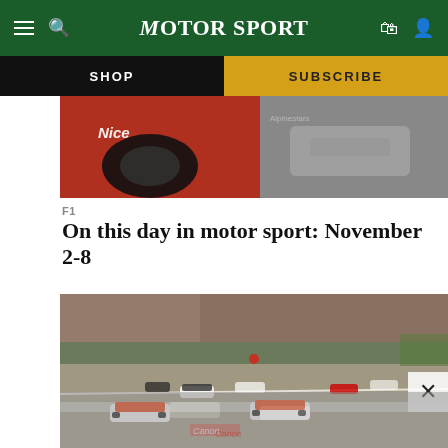MotorSport — SHOP | SUBSCRIBE
[Figure (photo): Top cropped banner image showing Formula 1 cars close-up with sponsor logos including Nice and Alpinestars, red and silver cars visible]
F1
On this day in motor sport: November 2-8
[Figure (photo): Formula 1 race start scene showing multiple cars on track, McLaren cars prominent in foreground, large crowd in grandstands visible, Canon advertising boards, race at a classic circuit]